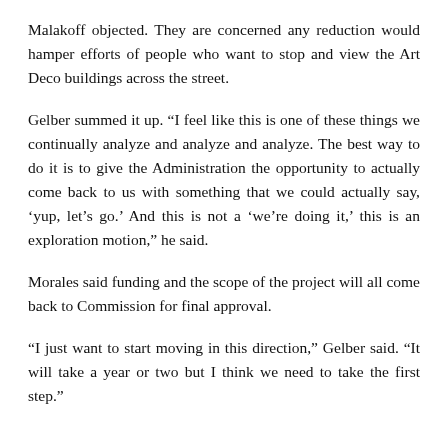Malakoff objected. They are concerned any reduction would hamper efforts of people who want to stop and view the Art Deco buildings across the street.
Gelber summed it up. “I feel like this is one of these things we continually analyze and analyze and analyze. The best way to do it is to give the Administration the opportunity to actually come back to us with something that we could actually say, ‘yup, let’s go.’ And this is not a ‘we’re doing it,’ this is an exploration motion,” he said.
Morales said funding and the scope of the project will all come back to Commission for final approval.
“I just want to start moving in this direction,” Gelber said. “It will take a year or two but I think we need to take the first step.”